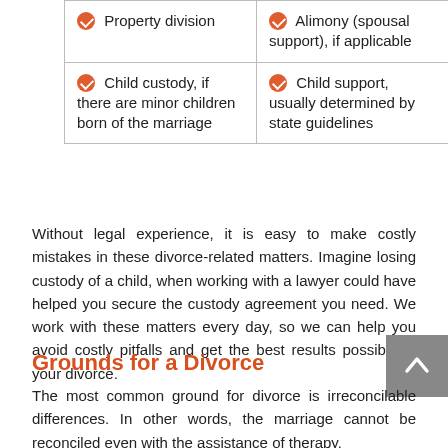| Property division | Alimony (spousal support), if applicable |
| Child custody, if there are minor children born of the marriage | Child support, usually determined by state guidelines |
Without legal experience, it is easy to make costly mistakes in these divorce-related matters. Imagine losing custody of a child, when working with a lawyer could have helped you secure the custody agreement you need. We work with these matters every day, so we can help you avoid costly pitfalls and get the best results possible in your divorce.
Grounds for a Divorce
The most common ground for divorce is irreconcilable differences. In other words, the marriage cannot be reconciled even with the assistance of therapy.